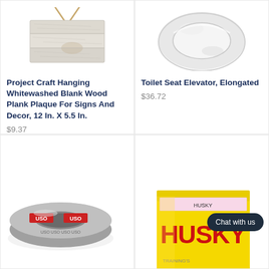[Figure (photo): Whitewashed hanging wood plank plaque with rope hanger]
Project Craft Hanging Whitewashed Blank Wood Plank Plaque For Signs And Decor, 12 In. X 5.5 In.
$9.37
[Figure (photo): White toilet seat elevator, elongated, viewed from above]
Toilet Seat Elevator, Elongated
$36.72
[Figure (photo): Roll of USO silver duct tape]
[Figure (photo): Husky brand yellow product box, partially visible]
Chat with us